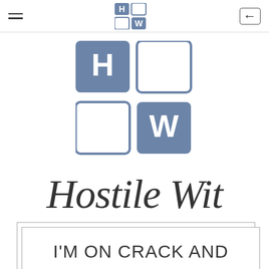Hostile Wit — navigation header with hamburger menu and back button
[Figure (logo): Hostile Wit logo: 2x2 grid of keyboard-key style tiles, two filled blue with letters H and W, two empty with blue border outline, arranged diagonally opposite (H top-left filled, top-right empty, bottom-left empty, W bottom-right filled)]
Hostile Wit
I'M ON CRACK AND